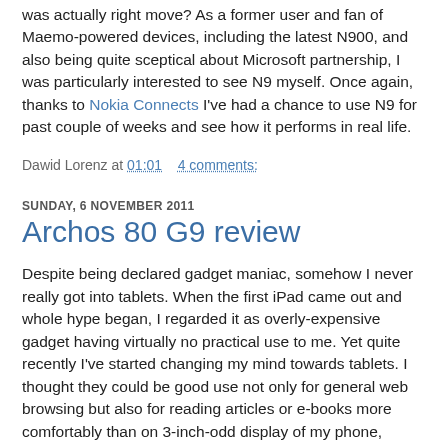was actually right move? As a former user and fan of Maemo-powered devices, including the latest N900, and also being quite sceptical about Microsoft partnership, I was particularly interested to see N9 myself. Once again, thanks to Nokia Connects I've had a chance to use N9 for past couple of weeks and see how it performs in real life.
Dawid Lorenz at 01:01    4 comments:
SUNDAY, 6 NOVEMBER 2011
Archos 80 G9 review
Despite being declared gadget maniac, somehow I never really got into tablets. When the first iPad came out and whole hype began, I regarded it as overly-expensive gadget having virtually no practical use to me. Yet quite recently I've started changing my mind towards tablets. I thought they could be good use not only for general web browsing but also for reading articles or e-books more comfortably than on 3-inch-odd display of my phone, playing YouTube videos to